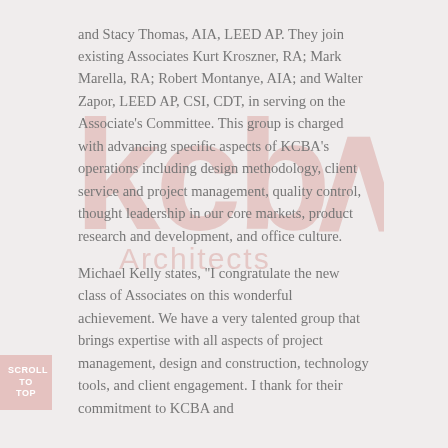and Stacy Thomas, AIA, LEED AP. They join existing Associates Kurt Kroszner, RA; Mark Marella, RA; Robert Montanye, AIA; and Walter Zapor, LEED AP, CSI, CDT, in serving on the Associate's Committee. This group is charged with advancing specific aspects of KCBA's operations including design methodology, client service and project management, quality control, thought leadership in our core markets, product research and development, and office culture.
[Figure (logo): KCBA Architects watermark logo in light salmon/rose color, displayed as a large background watermark]
Michael Kelly states, "I congratulate the new class of Associates on this wonderful achievement. We have a very talented group that brings expertise with all aspects of project management, design and construction, technology tools, and client engagement. I thank for their commitment to KCBA and